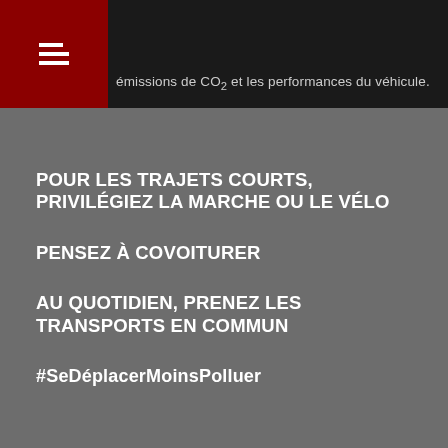émissions de CO₂ et les performances du véhicule.
POUR LES TRAJETS COURTS, PRIVILÉGIEZ LA MARCHE OU LE VÉLO
PENSEZ À COVOITURER
AU QUOTIDIEN, PRENEZ LES TRANSPORTS EN COMMUN
#SeDéplacerMoinsPolluer